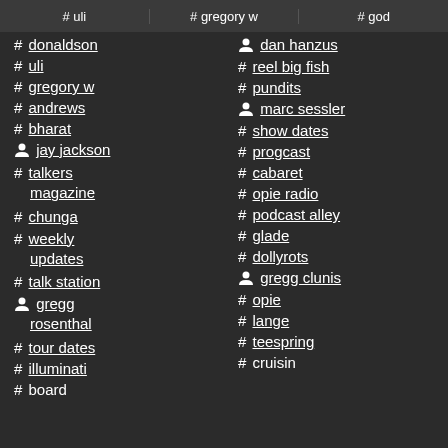# uli
# gregory w
# god
# donaldson
# uli
# gregory w
# andrews
# bharat
person jay jackson
# talkers magazine
# chunga
# weekly updates
# talk station
person gregg rosenthal
# tour dates
# illuminati
# board
person dan hanzus
# reel big fish
# pundits
person marc sessler
# show dates
# progcast
# cabaret
# opie radio
# podcast alley
# glade
# dollyrots
person gregg clunis
# opie
# lange
# teespring
# cruisin